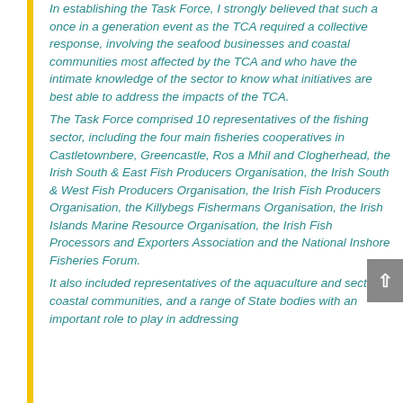In establishing the Task Force, I strongly believed that such a once in a generation event as the TCA required a collective response, involving the seafood businesses and coastal communities most affected by the TCA and who have the intimate knowledge of the sector to know what initiatives are best able to address the impacts of the TCA. The Task Force comprised 10 representatives of the fishing sector, including the four main fisheries cooperatives in Castletownbere, Greencastle, Ros a Mhil and Clogherhead, the Irish South & East Fish Producers Organisation, the Irish South & West Fish Producers Organisation, the Irish Fish Producers Organisation, the Killybegs Fishermans Organisation, the Irish Islands Marine Resource Organisation, the Irish Fish Processors and Exporters Association and the National Inshore Fisheries Forum. It also included representatives of the aquaculture and sector, coastal communities, and a range of State bodies with an important role to play in addressing the impacts of the TCA, including Bord Iascaigh Mhara,